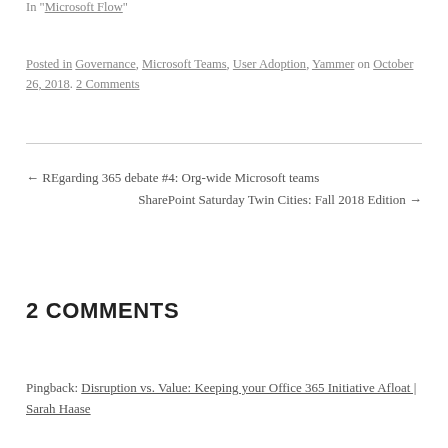In "Microsoft Flow"
Posted in Governance, Microsoft Teams, User Adoption, Yammer on October 26, 2018. 2 Comments
← REgarding 365 debate #4: Org-wide Microsoft teams
SharePoint Saturday Twin Cities: Fall 2018 Edition →
2 COMMENTS
Pingback: Disruption vs. Value: Keeping your Office 365 Initiative Afloat | Sarah Haase